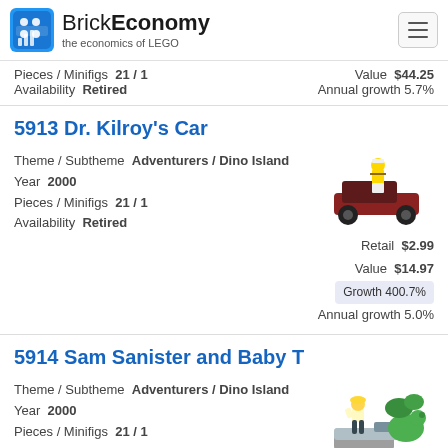BrickEconomy — the economics of LEGO
Pieces / Minifigs  21 / 1   Value $44.25
Availability  Retired   Annual growth 5.7%
5913 Dr. Kilroy's Car
Theme / Subtheme  Adventurers / Dino Island
Year  2000
Pieces / Minifigs  21 / 1
Availability  Retired
[Figure (photo): LEGO set 5913 Dr. Kilroy's Car — a small car with a minifigure driver]
Retail $2.99
Value $14.97
Growth 400.7%
Annual growth 5.0%
5914 Sam Sanister and Baby T
Theme / Subtheme  Adventurers / Dino Island
Year  2000
Pieces / Minifigs  21 / 1
[Figure (photo): LEGO set 5914 Sam Sanister and Baby T — minifigure with dinosaur baby]
Retail $2.99
Value $17.67